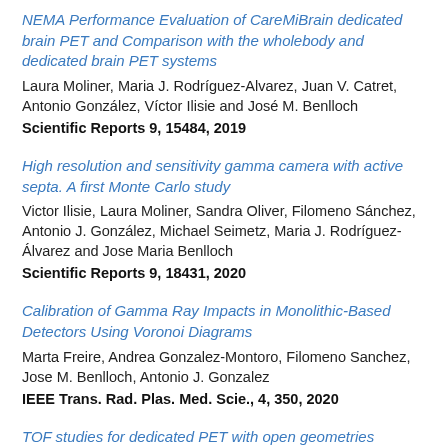NEMA Performance Evaluation of CareMiBrain dedicated brain PET and Comparison with the wholebody and dedicated brain PET systems
Laura Moliner, Maria J. Rodríguez-Alvarez, Juan V. Catret, Antonio González, Víctor Ilisie and José M. Benlloch
Scientific Reports 9, 15484, 2019
High resolution and sensitivity gamma camera with active septa. A first Monte Carlo study
Victor Ilisie, Laura Moliner, Sandra Oliver, Filomeno Sánchez, Antonio J. González, Michael Seimetz, Maria J. Rodríguez-Álvarez and Jose Maria Benlloch
Scientific Reports 9, 18431, 2020
Calibration of Gamma Ray Impacts in Monolithic-Based Detectors Using Voronoi Diagrams
Marta Freire, Andrea Gonzalez-Montoro, Filomeno Sanchez, Jose M. Benlloch, Antonio J. Gonzalez
IEEE Trans. Rad. Plas. Med. Scie., 4, 350, 2020
TOF studies for dedicated PET with open geometries